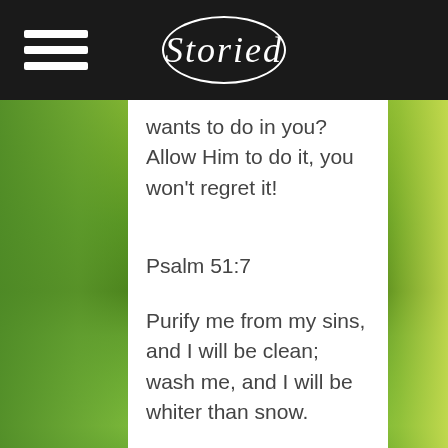Storied
wants to do in you?  Allow Him to do it, you won't regret it!
Psalm 51:7
Purify me from my sins, and I will be clean;   wash me, and I will be whiter than snow.